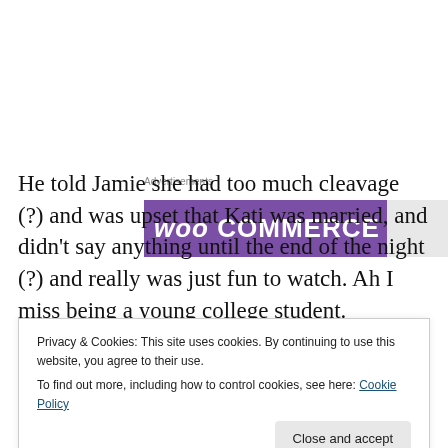[Figure (other): WooCommerce advertisement banner with purple background and 'woo COMMERCE' text in white]
He told Jamie she had too much cleavage (?) and was upset that Kati was married, and didn't say anything until the end of the night (?) and really was just fun to watch. Ah I miss being a young college student.
Privacy & Cookies: This site uses cookies. By continuing to use this website, you agree to their use. To find out more, including how to control cookies, see here: Cookie Policy
and drank water and watched.